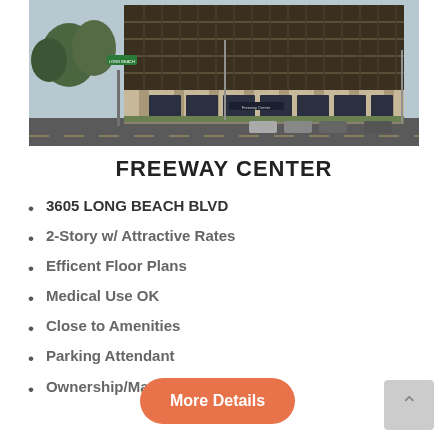[Figure (photo): Exterior photo of Freeway Center, a multi-story commercial office building with dark glass curtain wall facade, taken from street level showing the front facade, street signage, parked cars, and street trees.]
FREEWAY CENTER
3605 LONG BEACH BLVD
2-Story w/ Attractive Rates
Efficent Floor Plans
Medical Use OK
Close to Amenities
Parking Attendant
Ownership/Management Onsite